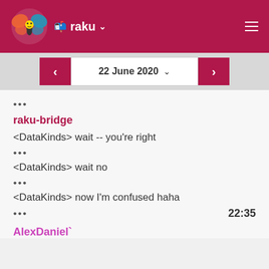raku
22 June 2020
•••
raku-bridge
<DataKinds> wait -- you're right
•••
<DataKinds> wait no
•••
<DataKinds> now I'm confused haha
••• 22:35
AlexDaniel`